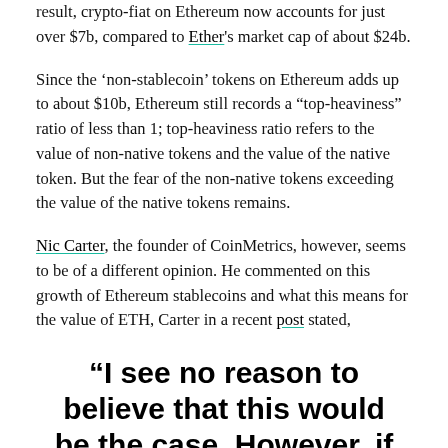result, crypto-fiat on Ethereum now accounts for just over $7b, compared to Ether's market cap of about $24b.
Since the 'non-stablecoin' tokens on Ethereum adds up to about $10b, Ethereum still records a "top-heaviness" ratio of less than 1; top-heaviness ratio refers to the value of non-native tokens and the value of the native token. But the fear of the non-native tokens exceeding the value of the native tokens remains.
Nic Carter, the founder of CoinMetrics, however, seems to be of a different opinion. He commented on this growth of Ethereum stablecoins and what this means for the value of ETH, Carter in a recent post stated,
“I see no reason to believe that this would be the case. However, if non-native